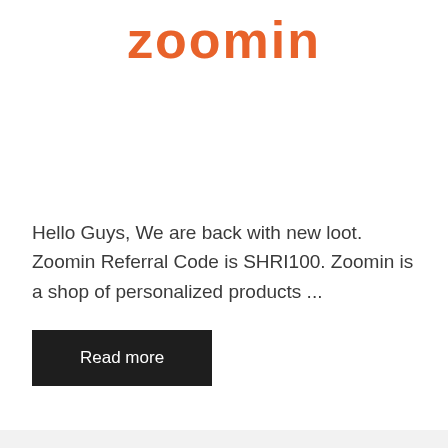[Figure (logo): Zoomin logo in orange/coral color text]
Hello Guys, We are back with new loot. Zoomin Referral Code is SHRI100. Zoomin is a shop of personalized products ...
Read more